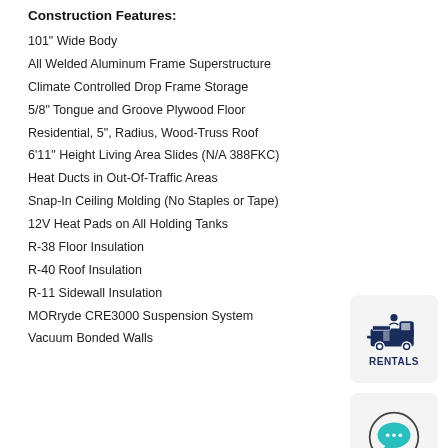Construction Features:
101" Wide Body
All Welded Aluminum Frame Superstructure
Climate Controlled Drop Frame Storage
5/8" Tongue and Groove Plywood Floor
Residential, 5", Radius, Wood-Truss Roof
6'11" Height Living Area Slides (N/A 388FKC)
Heat Ducts in Out-Of-Traffic Areas
Snap-In Ceiling Molding (No Staples or Tape)
12V Heat Pads on All Holding Tanks
R-38 Floor Insulation
R-40 Roof Insulation
R-11 Sidewall Insulation
MORryde CRE3000 Suspension System
Vacuum Bonded Walls
[Figure (logo): RENTALS logo with RV/camper icon above the text RENTALS in dark navy blue]
[Figure (illustration): Chat bubble icon with ellipsis inside, teal/green color, circular border]